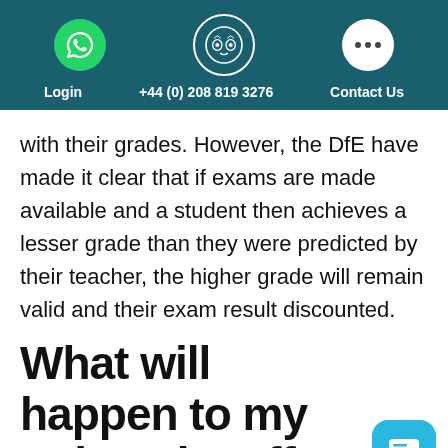Login  +44 (0) 208 819 3276  Contact Us
with their grades. However, the DfE have made it clear that if exams are made available and a student then achieves a lesser grade than they were predicted by their teacher, the higher grade will remain valid and their exam result discounted.
What will happen to my university offer?